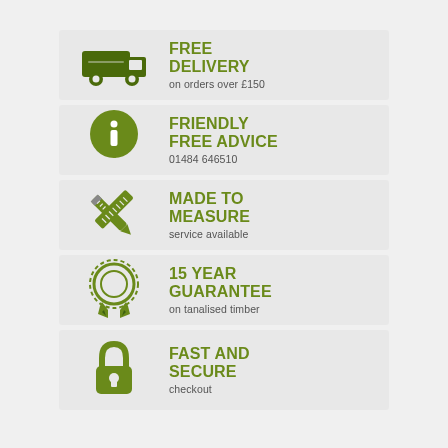[Figure (infographic): Free Delivery banner: delivery van icon with text FREE DELIVERY on orders over £150]
[Figure (infographic): Friendly Free Advice banner: info speech bubble icon with text FRIENDLY FREE ADVICE 01484 646510]
[Figure (infographic): Made To Measure banner: crossed pencil and ruler icon with text MADE TO MEASURE service available]
[Figure (infographic): 15 Year Guarantee banner: rosette/medal icon with text 15 YEAR GUARANTEE on tanalised timber]
[Figure (infographic): Fast And Secure banner: padlock icon with text FAST AND SECURE checkout]